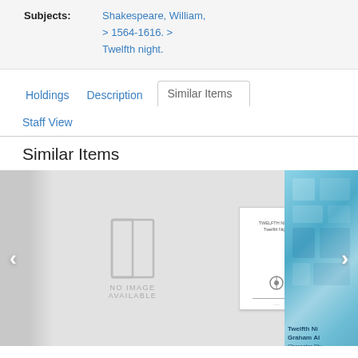Subjects: Shakespeare, William, > 1564-1616. > Twelfth night.
Holdings | Description | Similar Items | Staff View
Similar Items
[Figure (screenshot): A carousel of similar library items. First item shows a 'No Image Available' placeholder with a book icon. Second item shows a small white book cover thumbnail. Third item (partially visible) shows a teal/blue book cover with 'Twelfth Ni... Graham A... Character Stu...' text. Navigation arrows on left and right sides.]